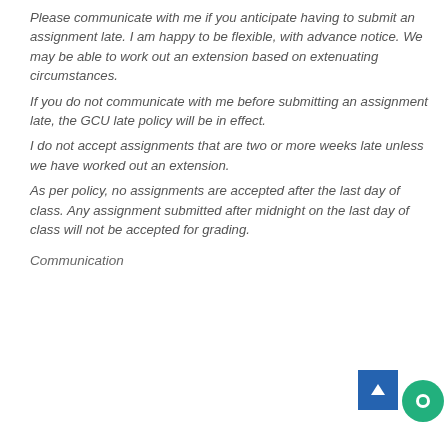Please communicate with me if you anticipate having to submit an assignment late. I am happy to be flexible, with advance notice. We may be able to work out an extension based on extenuating circumstances.
If you do not communicate with me before submitting an assignment late, the GCU late policy will be in effect.
I do not accept assignments that are two or more weeks late unless we have worked out an extension.
As per policy, no assignments are accepted after the last day of class. Any assignment submitted after midnight on the last day of class will not be accepted for grading.
Communication